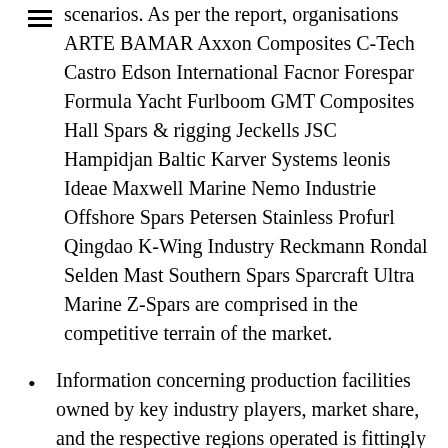scenarios. As per the report, organisations ARTE BAMAR Axxon Composites C-Tech Castro Edson International Facnor Forespar Formula Yacht Furlboom GMT Composites Hall Spars & rigging Jeckells JSC Hampidjan Baltic Karver Systems leonis Ideae Maxwell Marine Nemo Industrie Offshore Spars Petersen Stainless Profurl Qingdao K-Wing Industry Reckmann Rondal Selden Mast Southern Spars Sparcraft Ultra Marine Z-Spars are comprised in the competitive terrain of the market.
Information concerning production facilities owned by key industry players, market share, and the respective regions operated is fittingly described in the report.
The study combines the information pertaining to